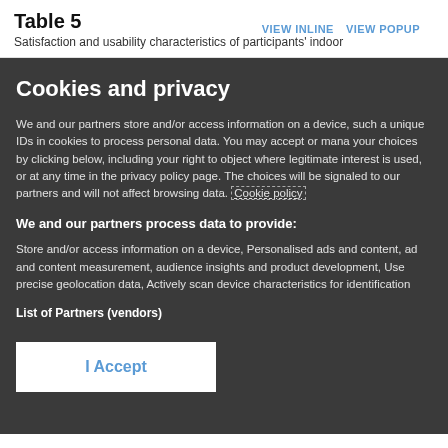Table 5
Satisfaction and usability characteristics of participants' indoor
Cookies and privacy
We and our partners store and/or access information on a device, such as unique IDs in cookies to process personal data. You may accept or manage your choices by clicking below, including your right to object where legitimate interest is used, or at any time in the privacy policy page. These choices will be signaled to our partners and will not affect browsing data. Cookie policy
We and our partners process data to provide:
Store and/or access information on a device, Personalised ads and content, ad and content measurement, audience insights and product development, Use precise geolocation data, Actively scan device characteristics for identification
List of Partners (vendors)
I Accept